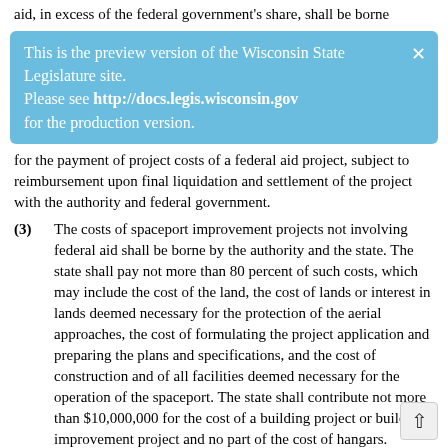aid, in excess of the federal government's share, shall be borne
[Figure (screenshot): Blue banner notification reading: 'This is the preview version of the Wisconsin State Legislature site. Please see http://docs.legis.wisconsin.gov for the production version.' with an X close button in the top right.]
for the payment of project costs of a federal aid project, subject to reimbursement upon final liquidation and settlement of the project with the authority and federal government.
(3) The costs of spaceport improvement projects not involving federal aid shall be borne by the authority and the state. The state shall pay not more than 80 percent of such costs, which may include the cost of the land, the cost of lands or interest in lands deemed necessary for the protection of the aerial approaches, the cost of formulating the project application and preparing the plans and specifications, and the cost of construction and of all facilities deemed necessary for the operation of the spaceport. The state shall contribute not more than $10,000,000 for the cost of a building project or building improvement project and no part of the cost of hangars.
(4) The percentage of the costs borne by the state shall be determined by the department on the basis of the relative importance of the specific project to any state spaceport development program as a whole.
(5) The state shall promote the development of a spaceport system